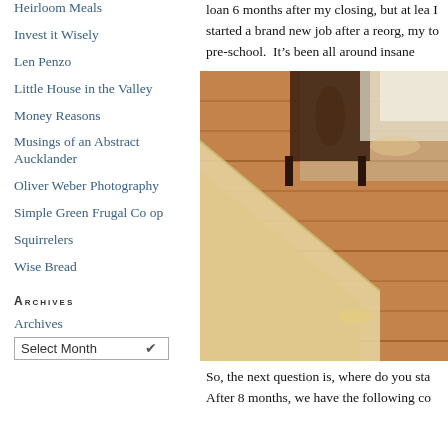Heirloom Meals
Invest it Wisely
Len Penzo
Little House in the Valley
Money Reasons
Musings of an Abstract Aucklander
Oliver Weber Photography
Simple Green Frugal Co op
Squirrelers
Wise Bread
Archives
Archives
Select Month
loan 6 months after my closing, but at lea I started a brand new job after a reorg, my to pre-school.  It’s been all around insane
[Figure (photo): Interior photo of a wooden staircase and hardwood floor, with a dark wood cabinet/furniture piece visible in the background hallway.]
So, the next question is, where do you sta After 8 months, we have the following co